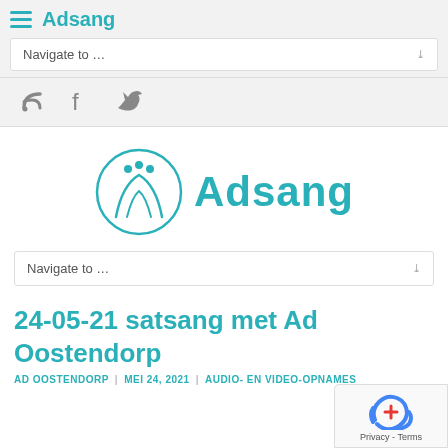Adsang | Navigate to ...
[Figure (logo): Adsang website header with hamburger menu, site title 'Adsang', and navigation dropdown 'Navigate to ...']
[Figure (logo): Social media icons: RSS feed, Facebook, Twitter]
[Figure (logo): Adsang logo: circle with stylized figure and text 'Adsang' in teal]
Navigate to ...
24-05-21 satsang met Ad Oostendorp
AD OOSTENDORP | MEI 24, 2021 | AUDIO- EN VIDEO-OPNAMES